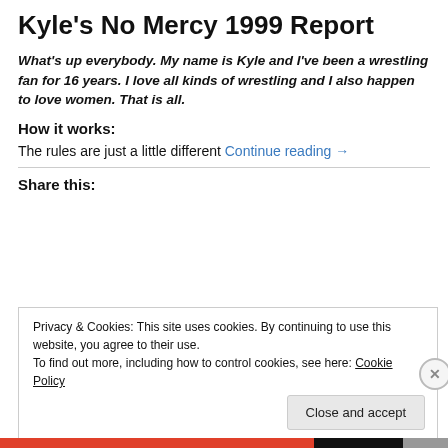Kyle's No Mercy 1999 Report
What's up everybody. My name is Kyle and I've been a wrestling fan for 16 years. I love all kinds of wrestling and I also happen to love women. That is all.
How it works:
The rules are just a little different Continue reading →
Share this:
Privacy & Cookies: This site uses cookies. By continuing to use this website, you agree to their use.
To find out more, including how to control cookies, see here: Cookie Policy